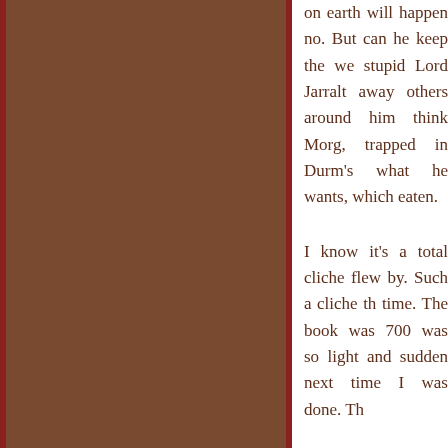on earth will happen no. But can he keep the we stupid Lord Jarralt away others around him think Morg, trapped in Durm's what he wants, which eaten.
I know it's a total cliche flew by. Such a cliche th time. The book was 700 was so light and sudden next time I was done. Th
I wish there were more as a trilogy. Then the s bigger and ended with th could have been a bat series is done and I am